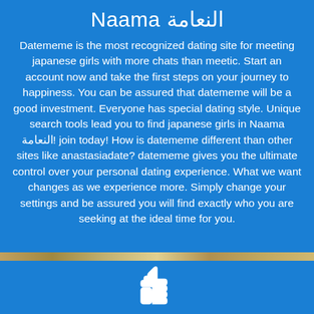Naama النعامة
Datememe is the most recognized dating site for meeting japanese girls with more chats than meetic. Start an account now and take the first steps on your journey to happiness. You can be assured that datememe will be a good investment. Everyone has special dating style. Unique search tools lead you to find japanese girls in Naama النعامة! join today! How is datememe different than other sites like anastasiadate? datememe gives you the ultimate control over your personal dating experience. What we want changes as we experience more. Simply change your settings and be assured you will find exactly who you are seeking at the ideal time for you.
[Figure (illustration): White thumbs-up icon on blue background]